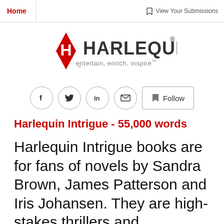Home   View Your Submissions
[Figure (logo): Harlequin logo with red diamond H and tagline 'entertain, enrich, inspire']
[Figure (infographic): Social media icons: Facebook, Twitter, LinkedIn, Email, and a Follow button]
Harlequin Intrigue - 55,000 words
Harlequin Intrigue books are for fans of novels by Sandra Brown, James Patterson and Iris Johansen. They are high-stakes thrillers and procedurals where